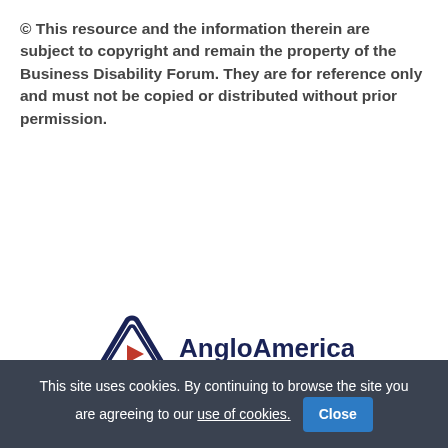© This resource and the information therein are subject to copyright and remain the property of the Business Disability Forum. They are for reference only and must not be copied or distributed without prior permission.
[Figure (logo): Anglo American logo with triangular icon and text 'AngloAmerican']
Explore the Toolkit
This site uses cookies. By continuing to browse the site you are agreeing to our use of cookies. [Close]